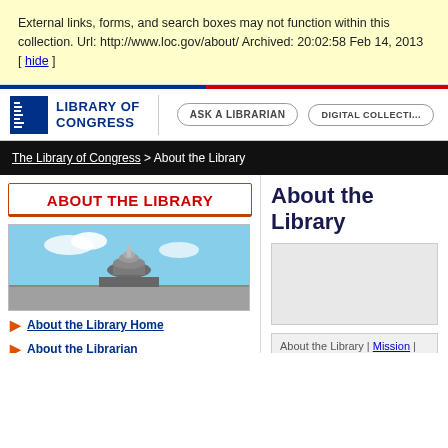External links, forms, and search boxes may not function within this collection. Url: http://www.loc.gov/about/ Archived: 20:02:58 Feb 14, 2013 [ hide ]
[Figure (logo): Library of Congress logo with building icon and text LIBRARY OF CONGRESS]
ASK A LIBRARIAN
DIGITAL COLLECTI...
The Library of Congress > About the Library
ABOUT THE LIBRARY
[Figure (photo): Photo of the Library of Congress dome against a cloudy sky]
About the Library Home
About the Librarian
History
Awards and Honors
Reports and Budgets
About the Library
About the Library | Mission | Ge...